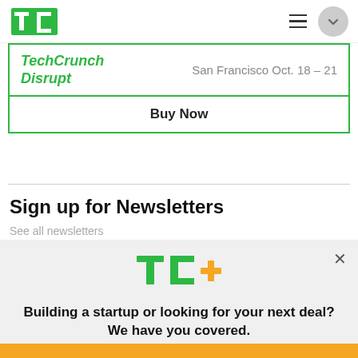TechCrunch
[Figure (screenshot): TechCrunch Disrupt banner - San Francisco Oct. 18-21 with Buy Now button]
Sign up for Newsletters
See all newsletters
[Figure (logo): TC+ logo with green TC and golden plus sign]
Building a startup or looking for your next deal? We have you covered.
EXPLORE NOW